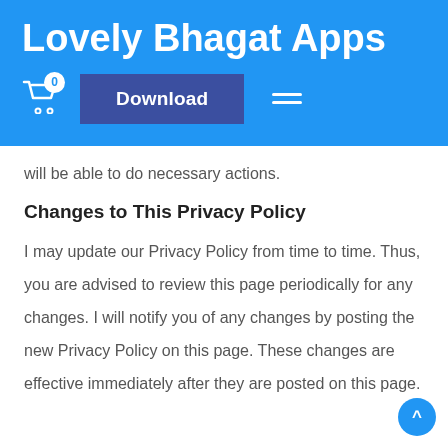Lovely Bhagat Apps
will be able to do necessary actions.
Changes to This Privacy Policy
I may update our Privacy Policy from time to time. Thus, you are advised to review this page periodically for any changes. I will notify you of any changes by posting the new Privacy Policy on this page. These changes are effective immediately after they are posted on this page.